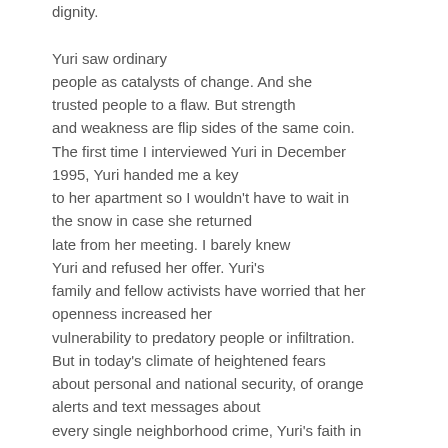dignity.

Yuri saw ordinary people as catalysts of change. And she trusted people to a flaw. But strength and weakness are flip sides of the same coin. The first time I interviewed Yuri in December 1995, Yuri handed me a key to her apartment so I wouldn't have to wait in the snow in case she returned late from her meeting. I barely knew Yuri and refused her offer. Yuri's family and fellow activists have worried that her openness increased her vulnerability to predatory people or infiltration. But in today's climate of heightened fears about personal and national security, of orange alerts and text messages about every single neighborhood crime, Yuri's faith in ordinary people's capacity to make decisions, to learn and grow from their